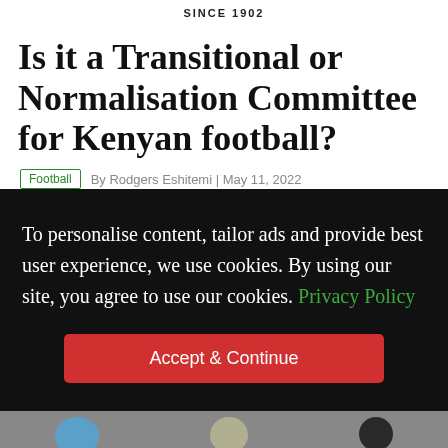SINCE 1902
Is it a Transitional or Normalisation Committee for Kenyan football?
Football  By Rodgers Eshitemi | May 11, 2022
To personalise content, tailor ads and provide best user experience, we use cookies. By using our site, you agree to use our cookies. Privacy Policy
Accept & Continue
[Figure (photo): Partial photo strip showing people at the bottom of the page]